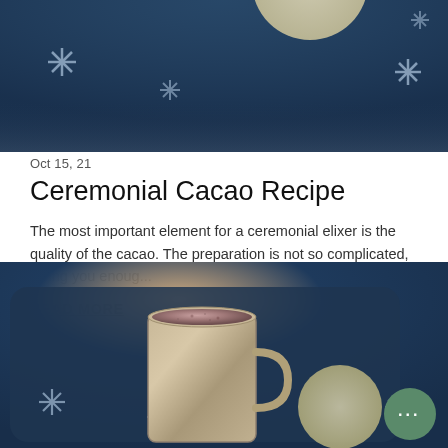[Figure (photo): Top portion of a photo showing a dark navy blue background with star/asterisk decorative patterns and a partial moon circle, blurred/cropped]
Oct 15, 21
Ceremonial Cacao Recipe
The most important element for a ceremonial elixer is the quality of the cacao. The preparation is not so complicated, giving you enoug...
READ MORE
[Figure (photo): Bottom photo showing a cup/mug filled with cacao drink viewed from above, sitting on a dark navy blue tray with star and crescent moon decorations. A green chat bubble button with ellipsis dots appears in the bottom right corner.]